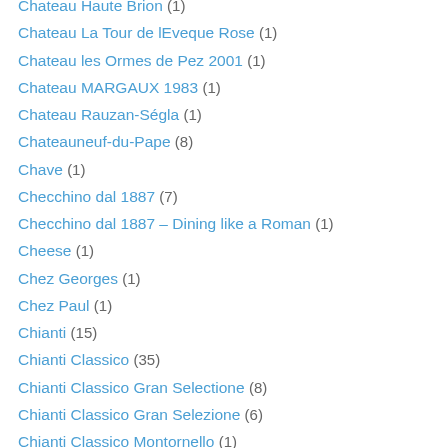Chateau Haute Brion (1)
Chateau La Tour de lEveque Rose (1)
Chateau les Ormes de Pez 2001 (1)
Chateau MARGAUX 1983 (1)
Chateau Rauzan-Ségla (1)
Chateauneuf-du-Pape (8)
Chave (1)
Checchino dal 1887 (7)
Checchino dal 1887 – Dining like a Roman (1)
Cheese (1)
Chez Georges (1)
Chez Paul (1)
Chianti (15)
Chianti Classico (35)
Chianti Classico Gran Selectione (8)
Chianti Classico Gran Selezione (6)
Chianti Classico Montornello (1)
Chianti Colli Senesi (2)
Chianti Logo (1)
Chianti Ruffino Gold Label (2)